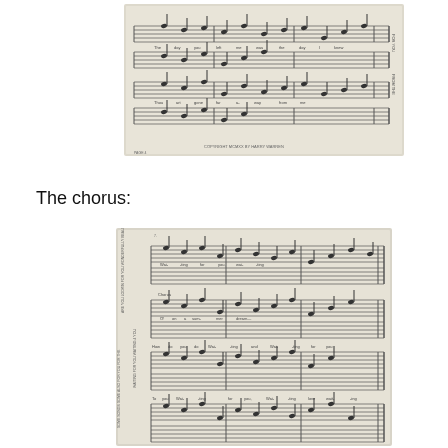[Figure (illustration): Sheet music notation showing musical score with staves, notes, lyrics, and performance markings. Appears to be a song printed on aged/yellowed paper. Text on right side appears to read 'FOR YOU' and 'FROM THE'. Multiple staves with vocal and piano parts visible.]
The chorus:
[Figure (illustration): Sheet music notation for the chorus section of the same song. Multiple staves with notes, lyrics underneath, and performance markings. Left side has text including 'ARE YOU LOOKIN FOR YOU WONDERFULLY BEAUTIFUL BALLAD' and 'WAITING FOR YOU WAITING 4 YOU'. Multiple systems of piano and vocal staves on aged paper.]